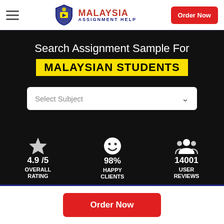[Figure (logo): Malaysia Assignment Help logo with shield icon and red/navy text]
Order Now
Search Assignment Sample For
MALAYSIAN STUDENTS
Select Subject
4.9 /5 OVERALL RATING
98% Happy Clients
14001 USER REVIEWS
Order Now